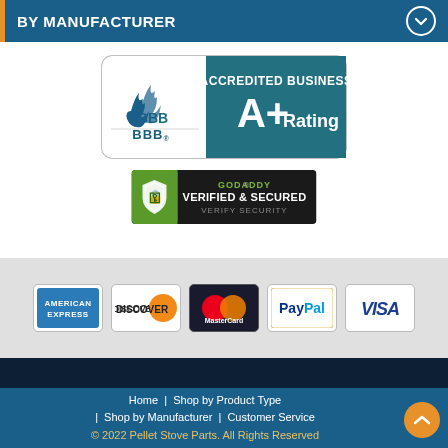BY MANUFACTURER
[Figure (logo): BBB Accredited Business A+ Rating badge with BBB flame logo on left and teal background on right showing ACCREDITED BUSINESS and A+ Rating text]
[Figure (logo): GoDaddy Verified & Secured seal with shield icon and text VERIFIED & SECURED / VERIFY SECURITY]
[Figure (logo): Payment method icons: American Express, Discover, MasterCard, PayPal, Visa]
Home | Shop by Product Type | Shop by Manufacturer | Customer Service © 2022 Pellet Stove Parts. All Rights Reserved